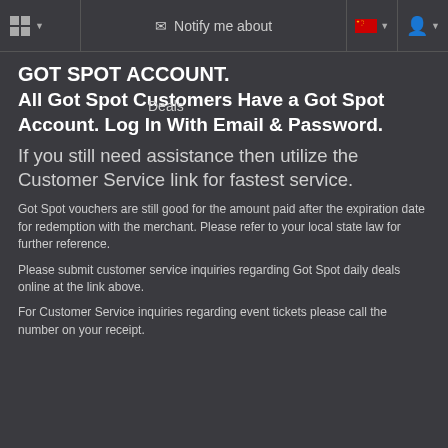GOT SPOT ACCOUNT.
All Got Spot Customers Have a Got Spot Account. Log In With Email & Password.
If you still need assistance then utilize the Customer Service link for fastest service.
Got Spot vouchers are still good for the amount paid after the expiration date for redemption with the merchant. Please refer to your local state law for further reference.
Please submit customer service inquiries regarding Got Spot daily deals online at the link above.
For Customer Service inquiries regarding event tickets please call the number on your receipt.